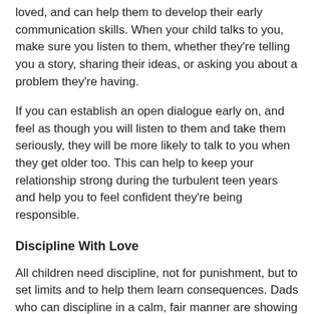loved, and can help them to develop their early communication skills. When your child talks to you, make sure you listen to them, whether they're telling you a story, sharing their ideas, or asking you about a problem they're having.
If you can establish an open dialogue early on, and feel as though you will listen to them and take them seriously, they will be more likely to talk to you when they get older too. This can help to keep your relationship strong during the turbulent teen years and help you to feel confident they're being responsible.
Discipline With Love
All children need discipline, not for punishment, but to set limits and to help them learn consequences. Dads who can discipline in a calm, fair manner are showing their love. Children are perceptive and they will pick up on the social cues you show them. They'll quickly learn the difference between discipline and punishment. Discipline could include household rules that everyone follows, such as limits on